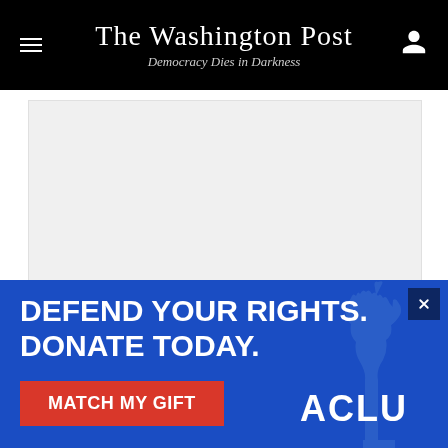The Washington Post
Democracy Dies in Darkness
[Figure (other): Advertisement placeholder area (gray rectangle)]
The value of mindful eating does not lie in its utility as a weight-loss tool. With practice and time, it can be a powerful way to unite the mind and body during the
[Figure (infographic): ACLU advertisement banner with text: DEFEND YOUR RIGHTS. DONATE TODAY. MATCH MY GIFT button, ACLU logo, and Statue of Liberty image on blue background]